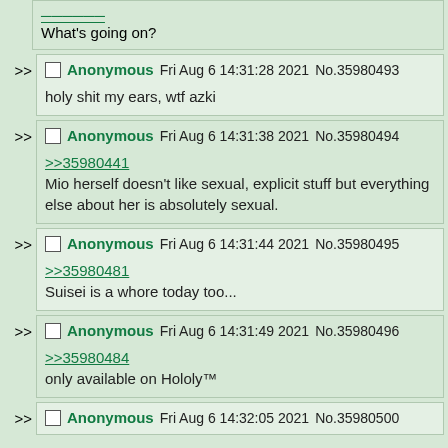What's going on?
Anonymous Fri Aug 6 14:31:28 2021 No.35980493
holy shit my ears, wtf azki
Anonymous Fri Aug 6 14:31:38 2021 No.35980494
>>35980441
Mio herself doesn't like sexual, explicit stuff but everything else about her is absolutely sexual.
Anonymous Fri Aug 6 14:31:44 2021 No.35980495
>>35980481
Suisei is a whore today too...
Anonymous Fri Aug 6 14:31:49 2021 No.35980496
>>35980484
only available on Hololy™
Anonymous Fri Aug 6 14:32:05 2021 No.35980500